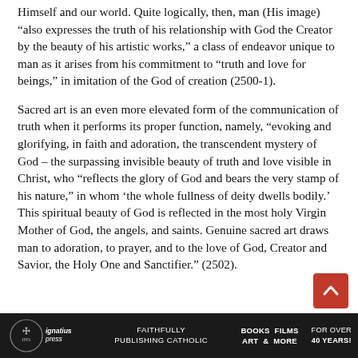Himself and our world. Quite logically, then, man (His image) “also expresses the truth of his relationship with God the Creator by the beauty of his artistic works,” a class of endeavor unique to man as it arises from his commitment to “truth and love for beings,” in imitation of the God of creation (2500-1).
Sacred art is an even more elevated form of the communication of truth when it performs its proper function, namely, “evoking and glorifying, in faith and adoration, the transcendent mystery of God – the surpassing invisible beauty of truth and love visible in Christ, who “reflects the glory of God and bears the very stamp of his nature,” in whom ‘the whole fullness of deity dwells bodily.’ This spiritual beauty of God is reflected in the most holy Virgin Mother of God, the angels, and saints. Genuine sacred art draws man to adoration, to prayer, and to the love of God, Creator and Savior, the Holy One and Sanctifier.” (2502).
[Figure (logo): Ignatius Press logo and footer bar with text: FAITHFULLY PUBLISHING CATHOLIC | BOOKS FILMS ART & MORE | FOR OVER 40 YEARS!]